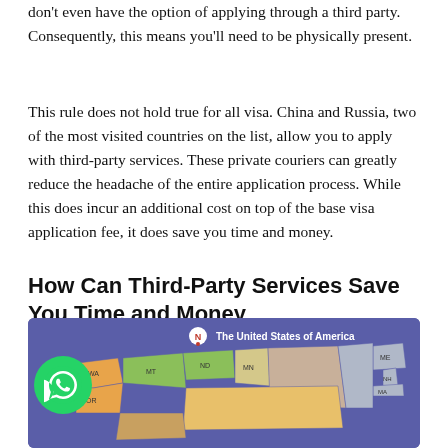don't even have the option of applying through a third party. Consequently, this means you'll need to be physically present.
This rule does not hold true for all visa. China and Russia, two of the most visited countries on the list, allow you to apply with third-party services. These private couriers can greatly reduce the headache of the entire application process. While this does incur an additional cost on top of the base visa application fee, it does save you time and money.
How Can Third-Party Services Save You Time and Money
[Figure (map): A map of The United States of America shown on a purple background, with state outlines colored in various shades (orange, green, tan, grey). Compass 'N' indicator in top center. WhatsApp chat icon overlaid at lower left. Visible state labels include WA, OR, MT, ND, MN, ME, NH, MA.]